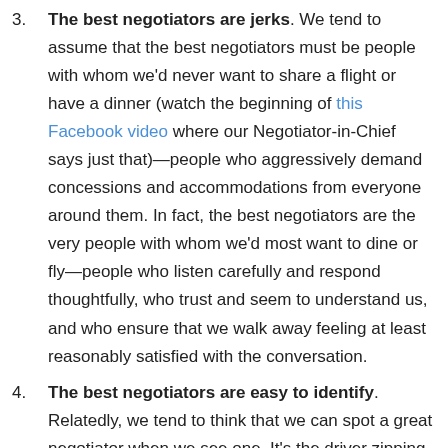3. The best negotiators are jerks. We tend to assume that the best negotiators must be people with whom we'd never want to share a flight or have a dinner (watch the beginning of this Facebook video where our Negotiator-in-Chief says just that)—people who aggressively demand concessions and accommodations from everyone around them. In fact, the best negotiators are the very people with whom we'd most want to dine or fly—people who listen carefully and respond thoughtfully, who trust and seem to understand us, and who ensure that we walk away feeling at least reasonably satisfied with the conversation.
4. The best negotiators are easy to identify. Relatedly, we tend to think that we can spot a great negotiator when we see one. It's the driver zipping around in the